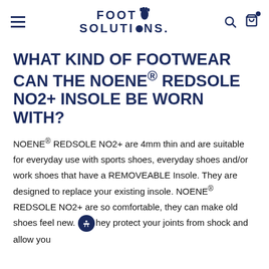Foot Solutions (navigation header with logo, hamburger menu, search, and cart icons)
WHAT KIND OF FOOTWEAR CAN THE NOENE® REDSOLE NO2+ INSOLE BE WORN WITH?
NOENE® REDSOLE NO2+ are 4mm thin and are suitable for everyday use with sports shoes, everyday shoes and/or work shoes that have a REMOVEABLE Insole. They are designed to replace your existing insole. NOENE® REDSOLE NO2+ are so comfortable, they can make old shoes feel new. They protect your joints from shock and allow you